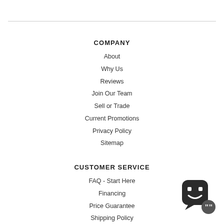COMPANY
About
Why Us
Reviews
Join Our Team
Sell or Trade
Current Promotions
Privacy Policy
Sitemap
CUSTOMER SERVICE
FAQ - Start Here
Financing
Price Guarantee
Shipping Policy
[Figure (illustration): Chat/support bot icon — a rounded square speech bubble with a smiley robot face and a small circular badge, in dark grey/black tones]